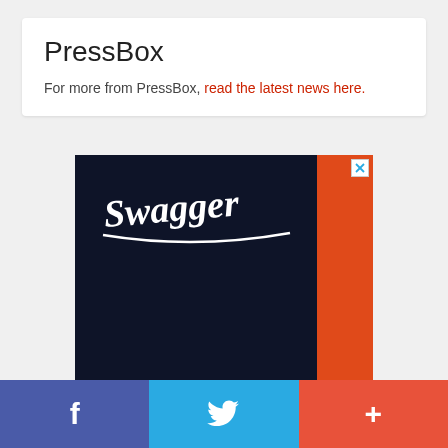PressBox
For more from PressBox, read the latest news here.
[Figure (illustration): Advertisement banner with dark navy background and orange accent stripe on right side, featuring 'Swagger' script logo in white on the left portion]
[Figure (infographic): Social sharing bar with three sections: Facebook (blue-purple), Twitter (blue), and a plus/more button (red-orange), each with white icons]